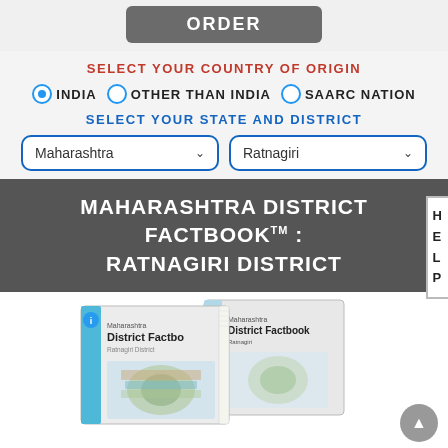ORDER
SELECT YOUR COUNTRY OF ORIGIN
INDIA  OTHER THAN INDIA  SAARC NATION
SELECT YOUR STATE AND DISTRICT
Maharashtra  Ratnagiri
MAHARASHTRA DISTRICT FACTBOOK™ : RATNAGIRI DISTRICT
[Figure (photo): Two book covers for Maharashtra District Factbook - Ratnagiri District, shown side by side at an angle with a map of Maharashtra on the cover.]